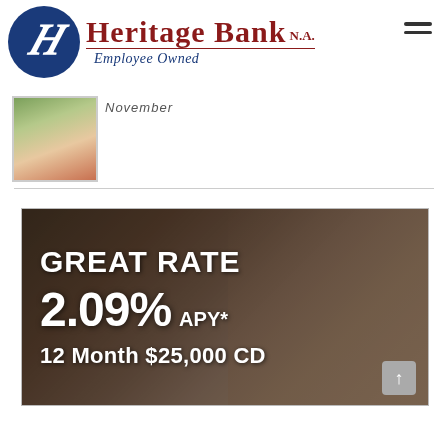[Figure (logo): Heritage Bank N.A. logo with blue circle containing stylized H, red text 'Heritage Bank N.A.' and blue italic text 'Employee Owned']
[Figure (photo): Small thumbnail photo of holiday food platter with green and red items]
November
[Figure (infographic): Heritage Bank advertisement banner showing 'GREAT RATE 2.09% APY* 12 Month $25,000 CD' overlaid on a dark photo of a mother and child]